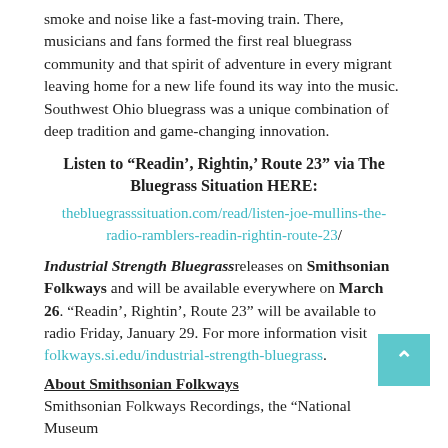smoke and noise like a fast-moving train. There, musicians and fans formed the first real bluegrass community and that spirit of adventure in every migrant leaving home for a new life found its way into the music. Southwest Ohio bluegrass was a unique combination of deep tradition and game-changing innovation.
Listen to “Readin’, Rightin,’ Route 23” via The Bluegrass Situation HERE:
thebluegrasssituation.com/read/listen-joe-mullins-the-radio-ramblers-readin-rightin-route-23/
Industrial Strength Bluegrass releases on Smithsonian Folkways and will be available everywhere on March 26. “Readin’, Rightin’, Route 23” will be available to radio Friday, January 29. For more information visit folkways.si.edu/industrial-strength-bluegrass.
About Smithsonian Folkways
Smithsonian Folkways Recordings, the “National Museum